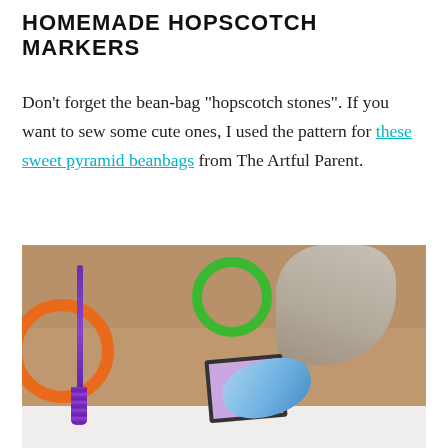HOMEMADE HOPSCOTCH MARKERS
Don't forget the bean-bag "hopscotch stones". If you want to sew some cute ones, I used the pattern for these sweet pyramid beanbags from The Artful Parent.
[Figure (photo): Child's hand placing a blue bean bag on a cardboard hopscotch board with colorful painted circles and shapes, purple rope/tassel visible on left side, white paper visible at bottom]